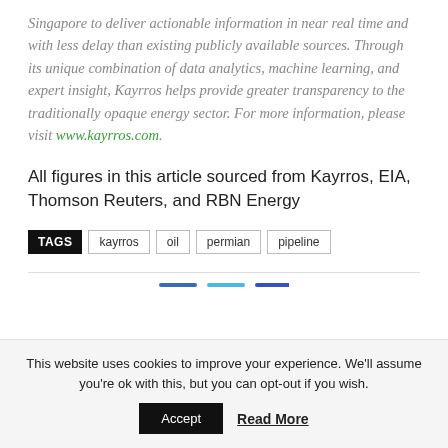Singapore to deliver actionable information in near real time and with less delay than existing publicly available sources. Through its unique combination of data analytics, machine learning, and expert insight, Kayrros helps provide greater transparency to the traditionally opaque energy sector. For more information, please visit www.kayrros.com.
All figures in this article sourced from Kayrros, EIA, Thomson Reuters, and RBN Energy
TAGS kayrros oil permian pipeline
This website uses cookies to improve your experience. We'll assume you're ok with this, but you can opt-out if you wish.